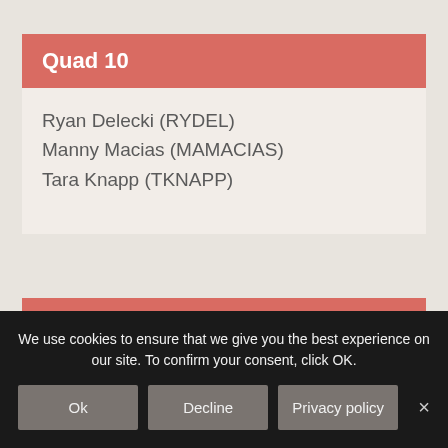Quad 10
Ryan Delecki (RYDEL)
Manny Macias (MAMACIAS)
Tara Knapp (TKNAPP)
We use cookies to ensure that we give you the best experience on our site. To confirm your consent, click OK.
Ok  Decline  Privacy policy  ×